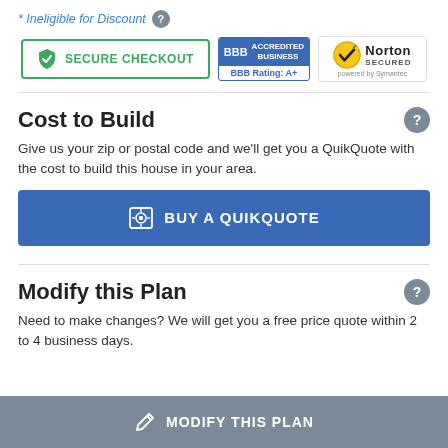* Ineligible for Discount
[Figure (logo): Secure Checkout button, BBB Accredited Business badge (Rating: A+), Norton Secured powered by Symantec badge]
Cost to Build
Give us your zip or postal code and we'll get you a QuikQuote with the cost to build this house in your area.
[Figure (screenshot): BUY A QUIKQUOTE button with calculator icon]
Modify this Plan
Need to make changes? We will get you a free price quote within 2 to 4 business days.
[Figure (screenshot): MODIFY THIS PLAN button with pencil icon]